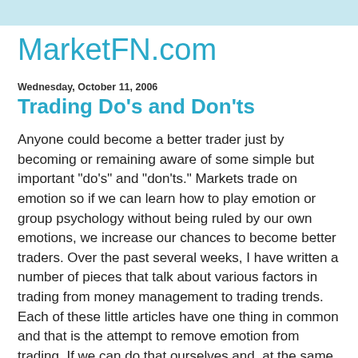MarketFN.com
Wednesday, October 11, 2006
Trading Do's and Don'ts
Anyone could become a better trader just by becoming or remaining aware of some simple but important "do's" and "don'ts." Markets trade on emotion so if we can learn how to play emotion or group psychology without being ruled by our own emotions, we increase our chances to become better traders. Over the past several weeks, I have written a number of pieces that talk about various factors in trading from money management to trading trends. Each of these little articles have one thing in common and that is the attempt to remove emotion from trading. If we can do that ourselves and, at the same time, develop an awareness of how the group behaves we have given ourselves a leg up on the crowd.